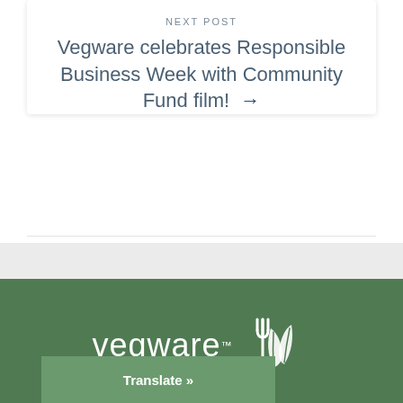NEXT POST
Vegware celebrates Responsible Business Week with Community Fund film! →
[Figure (logo): Vegware logo with fork and leaf icon in white on green background]
Translate »